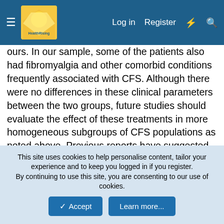HealthRising [logo] | Log in | Register
ours. In our sample, some of the patients also had fibromyalgia and other comorbid conditions frequently associated with CFS. Although there were no differences in these clinical parameters between the two groups, future studies should evaluate the effect of these treatments in more homogeneous subgroups of CFS populations as noted above. Previous reports have suggested that dietary supplements such as CoQ10 or NADH are safe and well tolerated [mce-anchor[12], mce-anchor[14]]. Our results confirm these observations and suggest that moderate doses of these molecules can be generally safety and well tolerated added to conventional therapy in CFS. This study has some limitations that should be noted. First, because of the small sample size, the study may have lacked the power to detect statistically significant differences in max HR changes
This site uses cookies to help personalise content, tailor your experience and to keep you logged in if you register.
By continuing to use this site, you are consenting to our use of cookies.